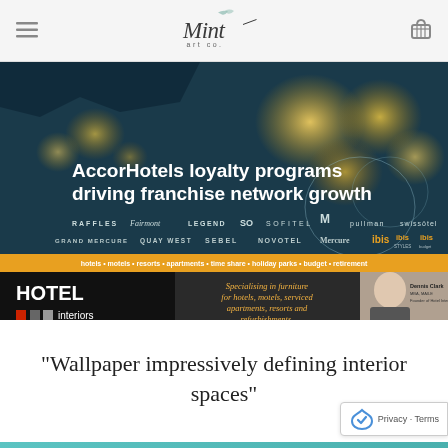Mint Art Co — navigation header with logo, menu and cart icons
[Figure (screenshot): AccorHotels loyalty programs driving franchise network growth — large banner showing hotel brand logos (Raffles, Fairmont, Legind, SO, Sofitel, Pullman, Swissotel, Grand Mercure, Quay West, Sebel, Novotel, Mercure, ibis) over a dark teal background with illuminated jellyfish imagery. Below a gold bar listing 'hotels • motels • resorts • apartments • time share • holiday parks • budget • retirement'. Hotel Interiors advertisement at bottom showing furniture specialisation, Dennis Clark contact details, phone 1300 876 055, website www.hotelinteriors.com.au, email dennis@hotelinteriors.com.au, Call Dennis Clark now on 0421 384 212.]
“Wallpaper impressively defining interior spaces”